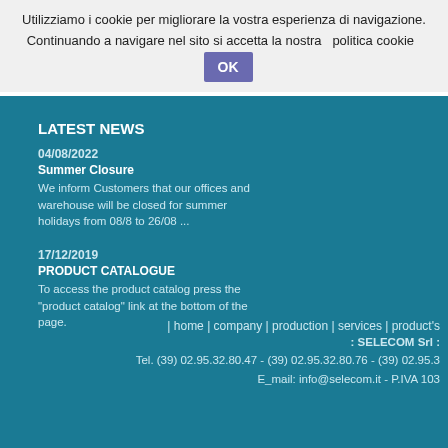Utilizziamo i cookie per migliorare la vostra esperienza di navigazione. Continuando a navigare nel sito si accetta la nostra   politica cookie  OK
LATEST NEWS
04/08/2022
Summer Closure
We inform Customers that our offices and warehouse will be closed for summer holidays from 08/8 to 26/08 ...
17/12/2019
PRODUCT CATALOGUE
To access the product catalog press the "product catalog" link at the bottom of the page.
| home | company | production | services | product's
: SELECOM Srl :
Tel. (39) 02.95.32.80.47 - (39) 02.95.32.80.76 - (39) 02.95.3
E_mail: info@selecom.it - P.IVA 103